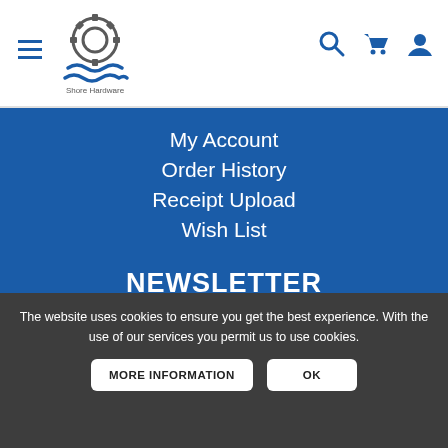Site header with hamburger menu, logo (Shore Hardware), search icon, cart icon, user icon
My Account
Order History
Receipt Upload
Wish List
NEWSLETTER
Email Address
Subscribe
The website uses cookies to ensure you get the best experience. With the use of our services you permit us to use cookies.
MORE INFORMATION
OK